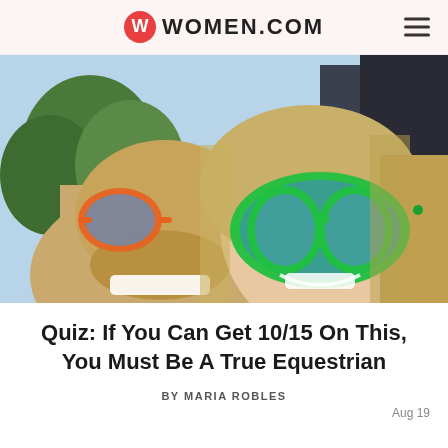women.com
[Figure (photo): A woman and a horse taking a selfie together, both wearing oversized novelty sunglasses — the horse has orange-framed glasses and the woman has large green-framed glasses. The woman is smiling broadly with long blonde hair. Trees and sky are visible in the background.]
Quiz: If You Can Get 10/15 On This, You Must Be A True Equestrian
BY MARIA ROBLES
Aug 19